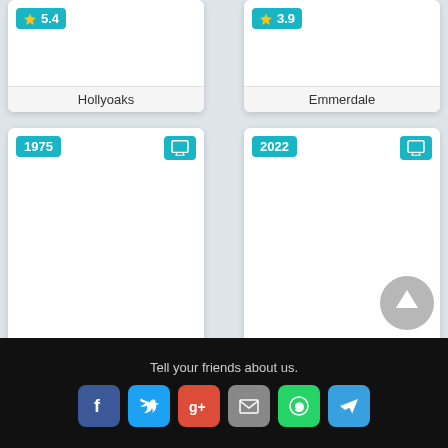[Figure (screenshot): Hollyoaks TV show card with rating badge 5.4]
[Figure (screenshot): Emmerdale TV show card with rating badge 3.9]
[Figure (screenshot): PBS NewsHour TV show card, year 1975, rating 5.3]
[Figure (screenshot): A Family Affair TV show card, year 2022, rating 5]
Tell your friends about us.
[Figure (infographic): Social sharing buttons: Facebook, Twitter, Google+, Email, WhatsApp, Telegram]